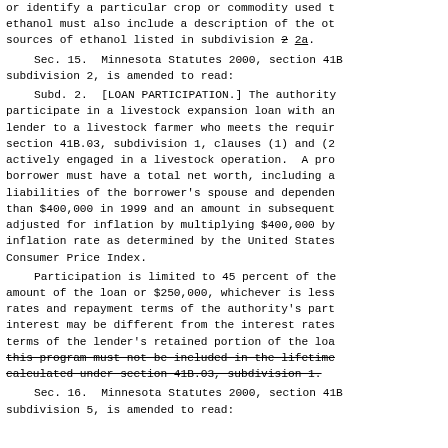or identify a particular crop or commodity used t ethanol must also include a description of the ot sources of ethanol listed in subdivision 2 2a.
Sec. 15.  Minnesota Statutes 2000, section 41B subdivision 2, is amended to read:
Subd. 2.  [LOAN PARTICIPATION.] The authority participate in a livestock expansion loan with an lender to a livestock farmer who meets the requir section 41B.03, subdivision 1, clauses (1) and (2 actively engaged in a livestock operation.  A pro borrower must have a total net worth, including a liabilities of the borrower's spouse and dependen than $400,000 in 1999 and an amount in subsequent adjusted for inflation by multiplying $400,000 by inflation rate as determined by the United States Consumer Price Index.
Participation is limited to 45 percent of the amount of the loan or $250,000, whichever is less rates and repayment terms of the authority's part interest may be different from the interest rates terms of the lender's retained portion of the loa this program must not be included in the lifetime calculated under section 41B.03, subdivision 1.
Sec. 16.  Minnesota Statutes 2000, section 41B subdivision 5, is amended to read: